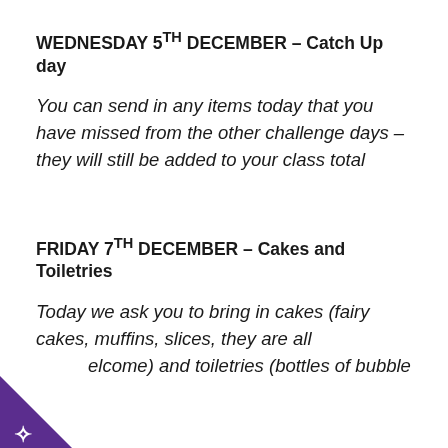WEDNESDAY 5TH DECEMBER – Catch Up day
You can send in any items today that you have missed from the other challenge days – they will still be added to your class total
FRIDAY 7TH DECEMBER – Cakes and Toiletries
Today we ask you to bring in cakes (fairy cakes, muffins, slices, they are all welcome) and toiletries (bottles of bubble